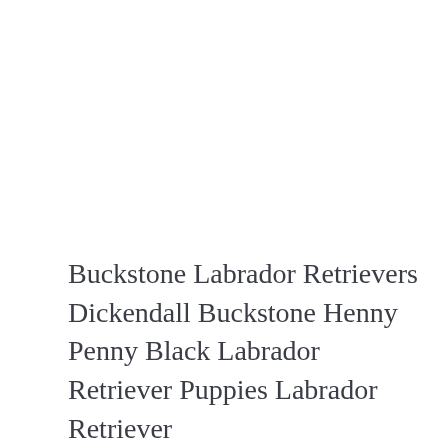Buckstone Labrador Retrievers Dickendall Buckstone Henny Penny Black Labrador Retriever Puppies Labrador Retriever